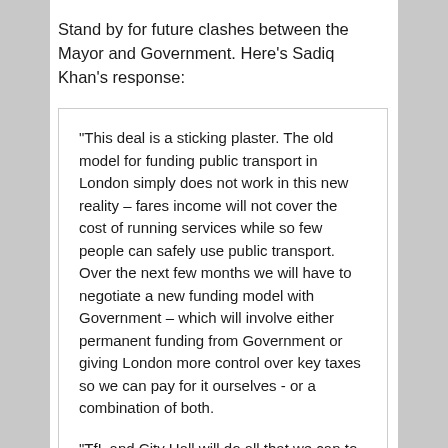Stand by for future clashes between the Mayor and Government. Here's Sadiq Khan's response:
“This deal is a sticking plaster. The old model for funding public transport in London simply does not work in this new reality – fares income will not cover the cost of running services while so few people can safely use public transport. Over the next few months we will have to negotiate a new funding model with Government – which will involve either permanent funding from Government or giving London more control over key taxes so we can pay for it ourselves - or a combination of both.
“TfL and City Hall will do all that we can to enable London’s recovery. We will run as many trains and buses as possible. But we need Londoners’ help. We must not use public transport unless absolutely necessary. People who can work from home must do so. Everyone